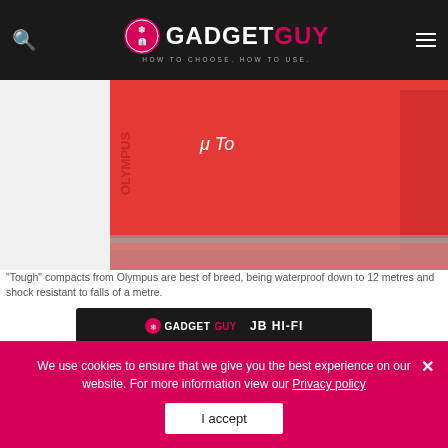[Figure (logo): GadgetGuy website header logo with search and menu icons on dark background]
[Figure (photo): Partial view of red Olympus Tough compact camera]
"Tough" compacts from Olympus are best of breed, being waterproof down to 12 metres and shock resistant to falls of a metre.
[Figure (infographic): GadgetGuy and JB Hi-Fi co-branded banner: WIN 1 OF 4 BLAUPUNKT 75" TVS]
We use cookies to ensure that we give you the best experience on our website. For more information view our Privacy policy
I accept